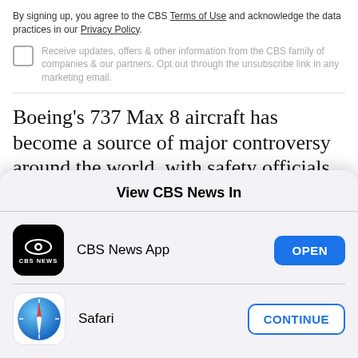By signing up, you agree to the CBS Terms of Use and acknowledge the data practices in our Privacy Policy.
Receive updates, offers & other information from the CBS family of companies & our partners. Opt out through the unsubscribe link in any marketing email.
Boeing's 737 Max 8 aircraft has become a source of major controversy around the world, with safety officials grounding it internationally and in the United States. While investigators have yet to fully
View CBS News In
CBS News App
Safari